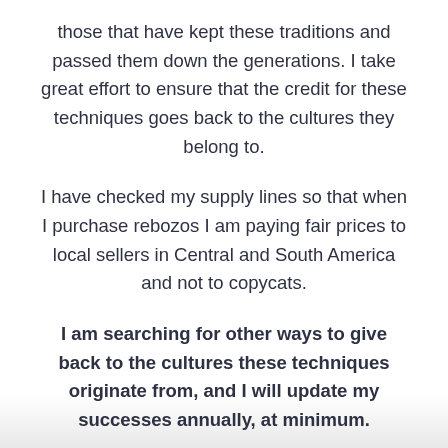those that have kept these traditions and passed them down the generations. I take great effort to ensure that the credit for these techniques goes back to the cultures they belong to.
I have checked my supply lines so that when I purchase rebozos I am paying fair prices to local sellers in Central and South America and not to copycats.
I am searching for other ways to give back to the cultures these techniques originate from, and I will update my successes annually, at minimum.